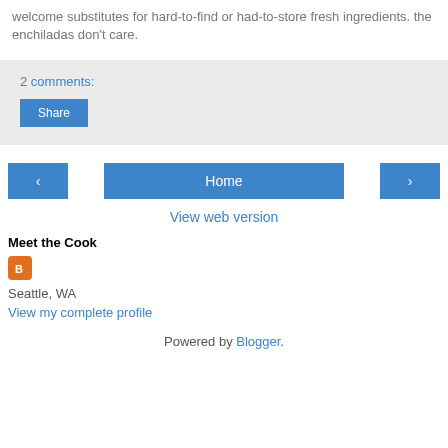welcome substitutes for hard-to-find or had-to-store fresh ingredients. the enchiladas don't care.
2 comments:
Share
‹
Home
›
View web version
Meet the Cook
Seattle, WA
View my complete profile
Powered by Blogger.